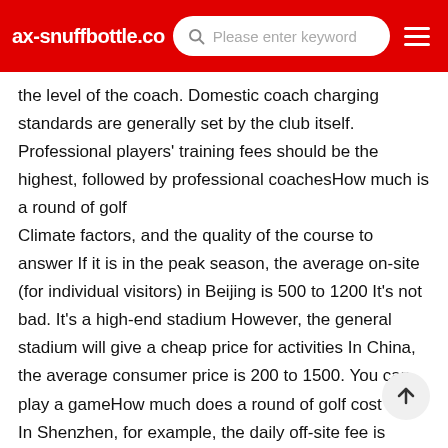ax-snuffbottle.co  Please enter keyword
the level of the coach. Domestic coach charging standards are generally set by the club itself. Professional players' training fees should be the highest, followed by professional coachesHow much is a round of golf
Climate factors, and the quality of the course to answer If it is in the peak season, the average on-site (for individual visitors) in Beijing is 500 to 1200 It's not bad. It's a high-end stadium However, the general stadium will give a cheap price for activities In China, the average consumer price is 200 to 1500. You can play a gameHow much does a round of golf cost
In Shenzhen, for example, the daily off-site fee is about 800 (average, it may not be accurate), plus caddie tips (usually 100 for each caddie), and the dining fee in the club (50-100 of the set meal), which is at least 1000 in total. And now there